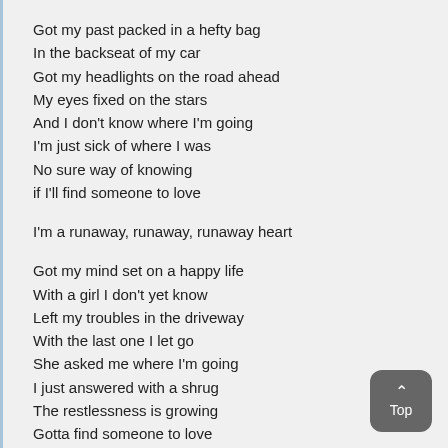Got my past packed in a hefty bag
In the backseat of my car
Got my headlights on the road ahead
My eyes fixed on the stars
And I don't know where I'm going
I'm just sick of where I was
No sure way of knowing
if I'll find someone to love

I'm a runaway, runaway, runaway heart

Got my mind set on a happy life
With a girl I don't yet know
Left my troubles in the driveway
With the last one I let go
She asked me where I'm going
I just answered with a shrug
The restlessness is growing
Gotta find someone to love